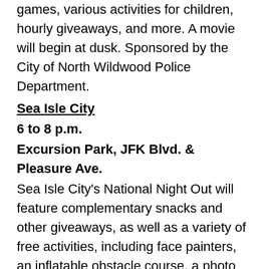games, various activities for children, hourly giveaways, and more. A movie will begin at dusk. Sponsored by the City of North Wildwood Police Department.
Sea Isle City
6 to 8 p.m.
Excursion Park, JFK Blvd. & Pleasure Ave.
Sea Isle City's National Night Out will feature complementary snacks and other giveaways, as well as a variety of free activities, including face painters, an inflatable obstacle course, a photo booth, games, live music and other family fun. There will also be a dunk tank, which will raise funds for Mayor Desiderio's 2016 Holiday Toy and Food Drive. Families will also enjoy a variety of interactive law enforcement and safety displays, manned by representatives from Sea Isle City's Fire Department, Ambulance Corps and Beach Patrol, as well as the Cape May County's Sheriff's Office, Prosecutor's Office and S.W.A.T. Team. At the SICPD table, officers will allow people to try on special goggles that show how severely